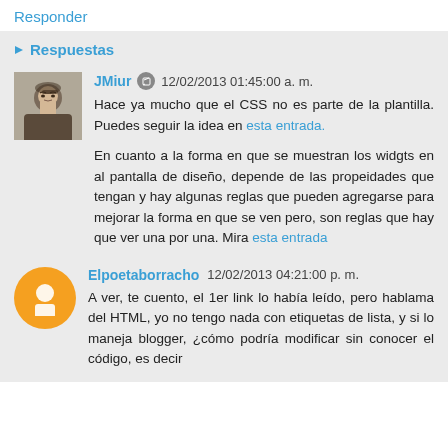Responder
Respuestas
JMiur 12/02/2013 01:45:00 a. m.
Hace ya mucho que el CSS no es parte de la plantilla. Puedes seguir la idea en esta entrada.

En cuanto a la forma en que se muestran los widgts en al pantalla de diseño, depende de las propeidades que tengan y hay algunas reglas que pueden agregarse para mejorar la forma en que se ven pero, son reglas que hay que ver una por una. Mira esta entrada
Elpoetaborracho 12/02/2013 04:21:00 p. m.
A ver, te cuento, el 1er link lo había leído, pero hablama del HTML, yo no tengo nada con etiquetas de lista, y si lo maneja blogger, ¿cómo podría modificar sin conocer el código, es decir